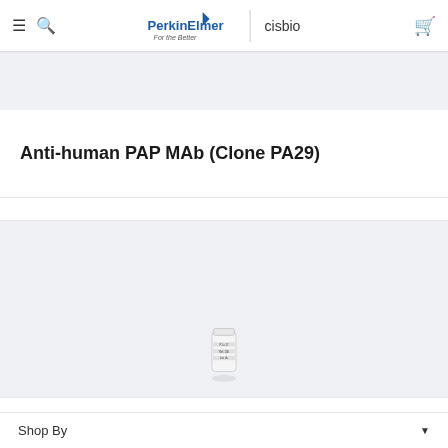PerkinElmer | cisbio
Anti-human PAP MAb (Clone PA29)
[Figure (photo): Product vial/tube image for Anti-human PAPP-A MAb, small white cylindrical vial with label showing on light gray background]
Anti-human PAPP-A MAb (Clone APS20)
Shop By